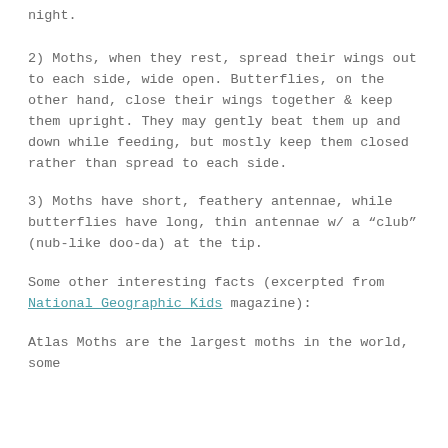night.
2) Moths, when they rest, spread their wings out to each side, wide open. Butterflies, on the other hand, close their wings together & keep them upright. They may gently beat them up and down while feeding, but mostly keep them closed rather than spread to each side.
3) Moths have short, feathery antennae, while butterflies have long, thin antennae w/ a "club" (nub-like doo-da) at the tip.
Some other interesting facts (excerpted from National Geographic Kids magazine):
Atlas Moths are the largest moths in the world, some